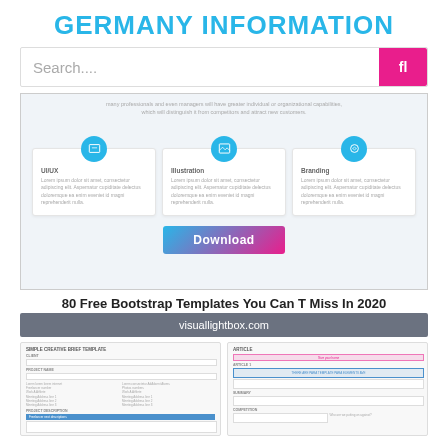GERMANY INFORMATION
[Figure (screenshot): Search bar with text 'Search....' and a pink search button with 'fl' icon]
[Figure (screenshot): Website screenshot showing a web template with three feature cards (UI/UX, Illustration, Branding) each with blue circle icons, descriptive lorem ipsum text, and a Download button with gradient background]
80 Free Bootstrap Templates You Can T Miss In 2020
visuallightbox.com
[Figure (screenshot): Two form template screenshots side by side - left shows a Simple Creative Brief Template with fields for client, project name, and objectives; right shows an article template with fields for title, summary, and competition]